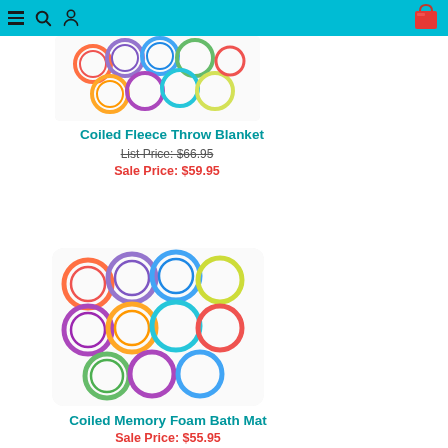Navigation header with menu, search, user, and cart icons
[Figure (photo): Coiled pattern fleece throw blanket product image showing colorful overlapping circles on white background]
Coiled Fleece Throw Blanket
List Price: $66.95
Sale Price: $59.95
[Figure (photo): Coiled memory foam bath mat product image showing colorful overlapping circles on white background, rectangular with rounded corners]
Coiled Memory Foam Bath Mat
Sale Price: $55.95